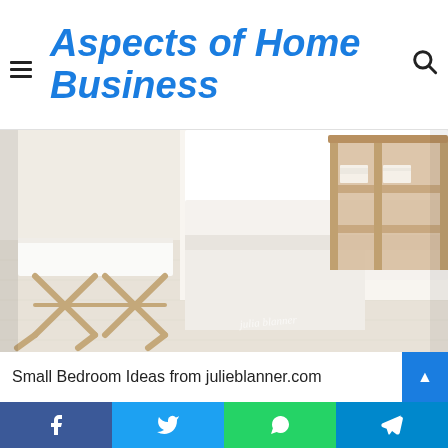Aspects of Home Business
[Figure (photo): Bright, minimalist white bedroom with a bamboo X-frame stool/table at the foot of the bed, white bedding, cream textured carpet, and a wooden slatted shelf/rack in the background. Watermark reads 'julia blanner' in the lower right.]
Small Bedroom Ideas from julieblanner.com